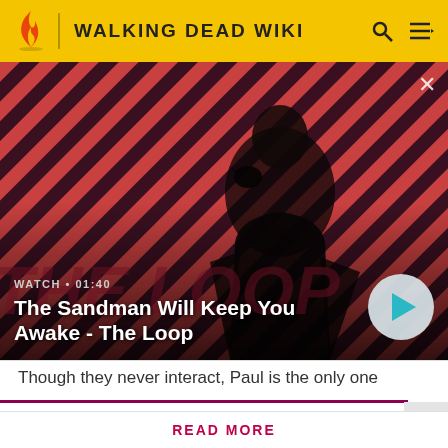WALKING DEAD WIKI
[Figure (screenshot): Video thumbnail showing a man in black clothing with a raven on his shoulder against a red diagonal striped background. Text overlay reads WATCH • 01:40 and The Sandman Will Keep You Awake - The Loop. A play button circle is on the right side.]
Though they never interact, Paul is the only one
Attention! Please be aware that spoilers are not allowed on the wiki and a violation of this policy may result in a ban.
READ MORE